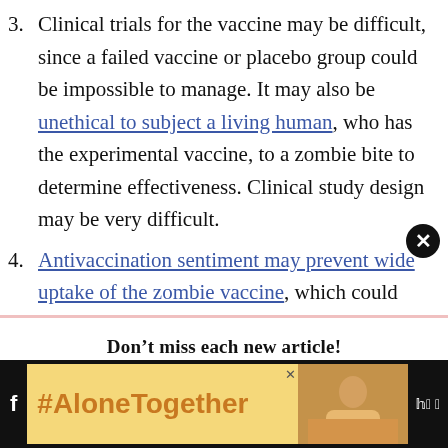3. Clinical trials for the vaccine may be difficult, since a failed vaccine or placebo group could be impossible to manage. It may also be unethical to subject a living human, who has the experimental vaccine, to a zombie bite to determine effectiveness. Clinical study design may be very difficult.
4. Antivaccination sentiment may prevent wide uptake of the zombie vaccine, which could
Don't miss each new article!
Email Address *
[Figure (screenshot): #AloneTogether advertisement banner with orange text on yellow background and a photo of a person in kitchen]